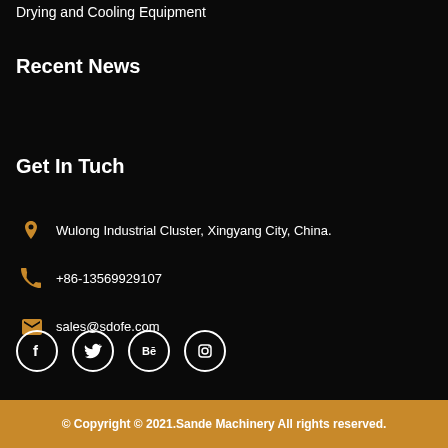Drying and Cooling Equipment
Recent News
Get In Tuch
Wulong Industrial Cluster, Xingyang City, China.
+86-13569929107
sales@sdofe.com
[Figure (other): Social media icons: Facebook, Twitter, Behance, Instagram]
© Copyright © 2021.Sande Machinery All rights reserved.